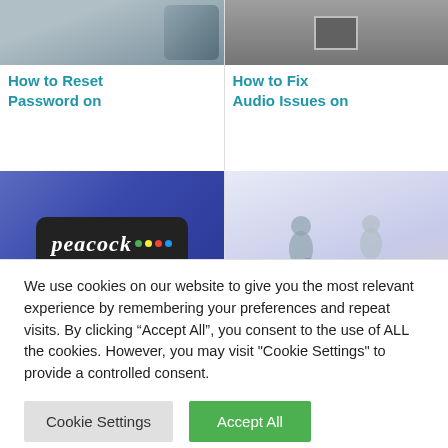[Figure (screenshot): Screenshot of a website showing a grid of article cards. Top-left card shows a smartphone image with title 'How to Reset Password on'. Top-right card shows a gray audio/speaker image with title 'How to Fix Audio Issues on'. Bottom-left card shows a Peacock streaming device/phone with logo. Bottom-right card shows a family with children on a tablet. Bottom cards have partially visible titles 'How to Turn on' and 'How to Set the'.]
We use cookies on our website to give you the most relevant experience by remembering your preferences and repeat visits. By clicking “Accept All”, you consent to the use of ALL the cookies. However, you may visit "Cookie Settings" to provide a controlled consent.
Cookie Settings
Accept All